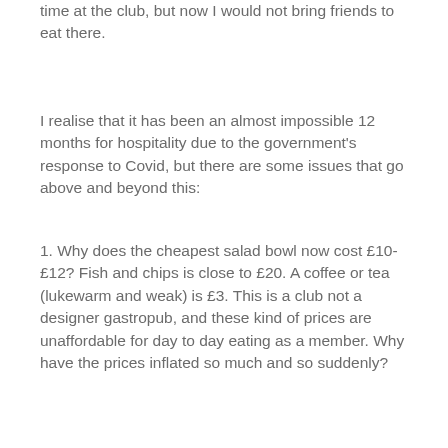time at the club, but now I would not bring friends to eat there.
I realise that it has been an almost impossible 12 months for hospitality due to the government's response to Covid, but there are some issues that go above and beyond this:
1. Why does the cheapest salad bowl now cost £10-£12? Fish and chips is close to £20. A coffee or tea (lukewarm and weak) is £3. This is a club not a designer gastropub, and these kind of prices are unaffordable for day to day eating as a member. Why have the prices inflated so much and so suddenly?
2. On the subject of tea – why is it a shock every afternoon when everyone comes in asking for tea? I was there on a Bank Holiday Monday and getting a cup of tea took over half an hour.